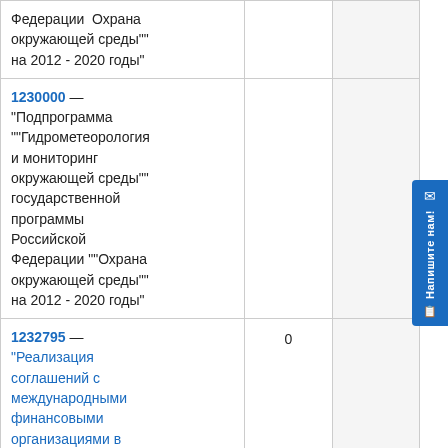| Федерации  Охрана окружающей среды"" на 2012 - 2020 годы" |  |  |
| 1230000 — "Подпрограмма ""Гидрометеорология и мониторинг окружающей среды"" государственной программы Российской Федерации ""Охрана окружающей среды"" на 2012 - 2020 годы" |  |  |
| 1232795 — "Реализация соглашений с международными финансовыми организациями в рамках | 0 |  |